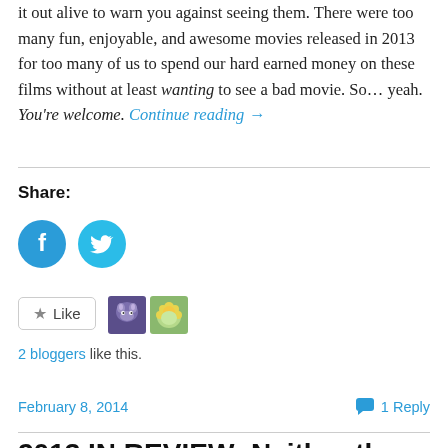it out alive to warn you against seeing them. There were too many fun, enjoyable, and awesome movies released in 2013 for too many of us to spend our hard earned money on these films without at least wanting to see a bad movie. So… yeah. You're welcome. Continue reading →
Share:
[Figure (illustration): Facebook and Twitter social share circular icon buttons in teal/blue color]
[Figure (illustration): Like button with star icon, and two blogger avatar thumbnails]
2 bloggers like this.
February 8, 2014
1 Reply
2013 IN REVIEW: Neither the